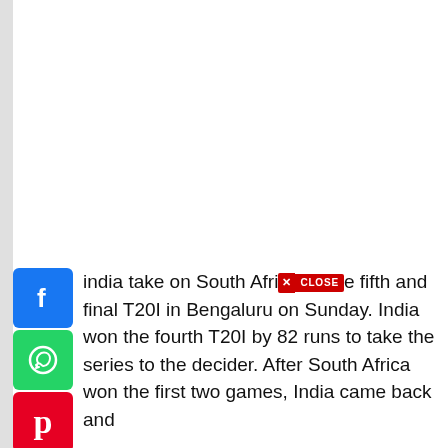[Figure (screenshot): Social media share buttons: Facebook (blue), WhatsApp (green), Pinterest (red), More/Plus (blue)]
India take on South Africa in the fifth and final T20I in Bengaluru on Sunday. India won the fourth T20I by 82 runs to take the series to the decider. After South Africa won the first two games, India came back and